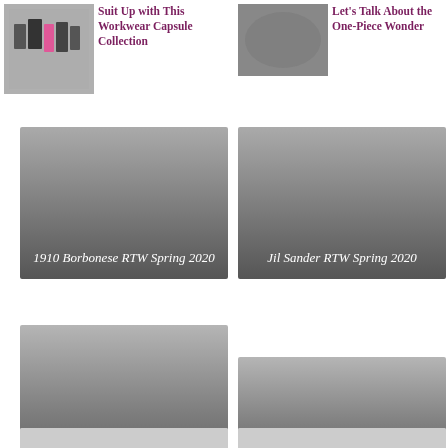[Figure (illustration): Workwear capsule collection thumbnail with clothing items]
Suit Up with This Workwear Capsule Collection
[Figure (photo): One-piece wonder editorial photo thumbnail]
Let's Talk About the One-Piece Wonder
[Figure (photo): 1910 Borbonese RTW Spring 2020 fashion image tile]
1910 Borbonese RTW Spring 2020
[Figure (photo): Jil Sander RTW Spring 2020 fashion image tile]
Jil Sander RTW Spring 2020
[Figure (photo): Emilia Wickstead RTW Spring 2020 fashion image tile]
Emilia Wickstead RTW Spring 2020
[Figure (photo): Halpren Spring 2020 fashion image tile]
Halpren Spring 2020
[Figure (photo): Partially visible fashion image tile bottom left]
[Figure (photo): Partially visible fashion image tile bottom right]